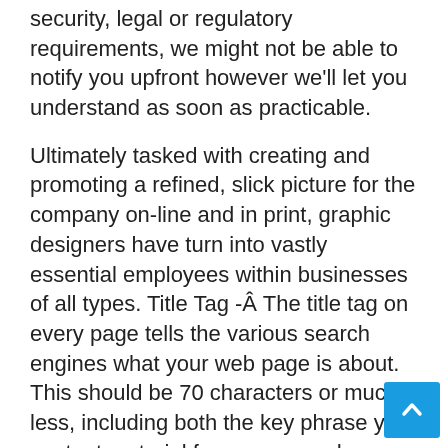security, legal or regulatory requirements, we might not be able to notify you upfront however we'll let you understand as soon as practicable.
Ultimately tasked with creating and promoting a refined, slick picture for the company on-line and in print, graphic designers have turn into vastly essential employees within businesses of all types. Title Tag -Â The title tag on every page tells the various search engines what your web page is about. This should be 70 characters or much less, including both the key phrase your content material focuses on and your small business title.
Possession and Reuse.Â Using the Providers doesn't provide you with possession of any mental or other property rights or interests in the Providers or the content you access. You need to